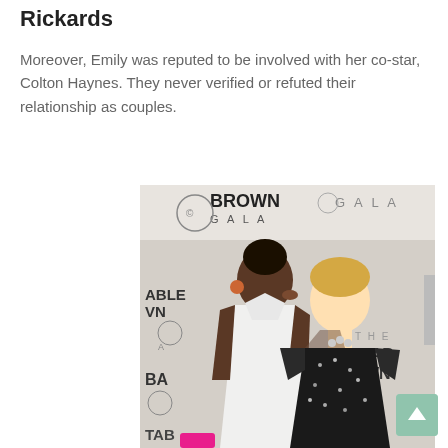Rickards
Moreover, Emily was reputed to be involved with her co-star, Colton Haynes. They never verified or refuted their relationship as couples.
[Figure (photo): Two women posing at the Brown Gala event. A Black woman in a white sleeveless dress is kissing on the cheek a blonde woman in a dark sparkly dress. Various event banners visible in background reading BROWN GALA and NSTAB ROWN ALA.]